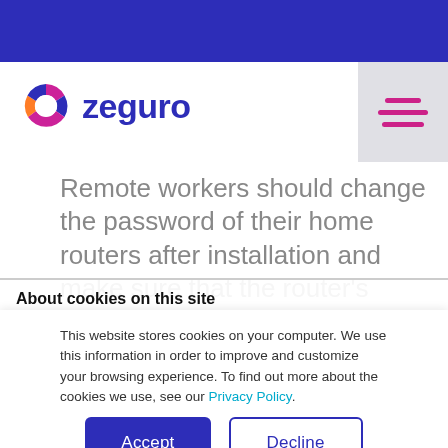[Figure (logo): Zeguro logo: circular icon with pink/purple/dark segments and the word 'zeguro' in dark blue bold text]
Remote workers should change the password of their home routers after installation and make sure that the router's
About cookies on this site
This website stores cookies on your computer. We use this information to
This website stores cookies on your computer. We use this information in order to improve and customize your browsing experience. To find out more about the cookies we use, see our Privacy Policy.
Accept | Decline